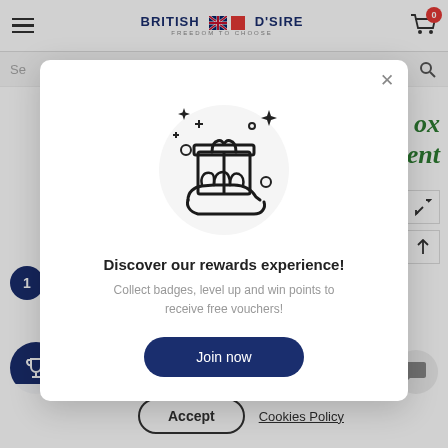British D'Sire — FREEDOM TO CHOOSE
[Figure (screenshot): Website header with hamburger menu, British D'Sire logo and cart icon with 0 badge]
[Figure (illustration): Modal popup showing gift box on hand with sparkles icon]
Discover our rewards experience!
Collect badges, level up and win points to receive free vouchers!
Join now
experience on our website.
Accept
Cookies Policy